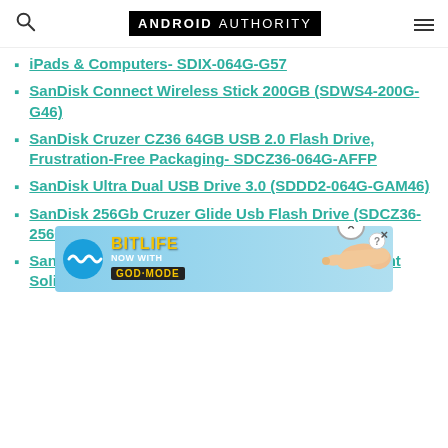Android Authority
iPads & Computers- SDIX-064G-G57
SanDisk Connect Wireless Stick 200GB (SDWS4-200G-G46)
SanDisk Cruzer CZ36 64GB USB 2.0 Flash Drive, Frustration-Free Packaging- SDCZ36-064G-AFFP
SanDisk Ultra Dual USB Drive 3.0 (SDDD2-064G-GAM46)
SanDisk 256Gb Cruzer Glide Usb Flash Drive (SDCZ36-256G-B35)
SanDisk Ultra II 960GB SATA III 2.5-Inch 7mm Height Solid... 550MB/s- S...
[Figure (screenshot): BitLife advertisement overlay showing 'NOW WITH GOD MODE' with hand pointing graphic on blue background]